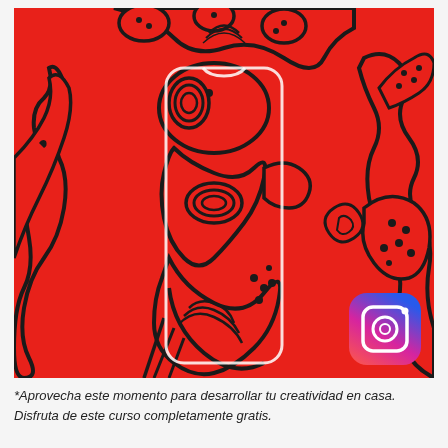[Figure (illustration): A vibrant red mural/street art featuring bold black outlined abstract figures and patterns. In the center foreground, a transparent smartphone outline (modern phone with notch) is overlaid on the artwork. In the bottom-right corner, the Instagram app icon is visible — a gradient purple-pink-orange square with a camera outline inside. The mural features intricate swirling and dotted patterns within the black outlines on a red background.]
*Aprovecha este momento para desarrollar tu creatividad en casa. Disfruta de este curso completamente gratis.